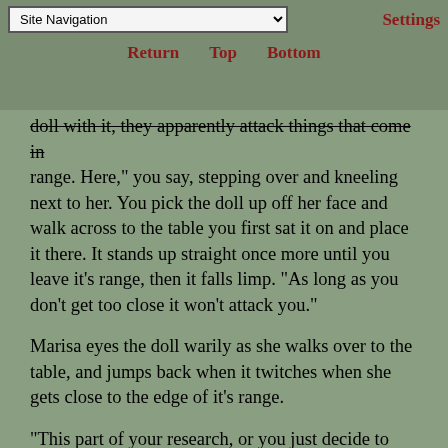Site Navigation | Return | Top | Bottom | Settings
doll with it, they apparently attack things that come in range. Here," you say, stepping over and kneeling next to her. You pick the doll up off her face and walk across to the table you first sat it on and place it there. It stands up straight once more until you leave it's range, then it falls limp. "As long as you don't get too close it won't attack you."
Marisa eyes the doll warily as she walks over to the table, and jumps back when it twitches when she gets close to the edge of it's range.
"This part of your research, or you just decide to make an attack doll out of nowhere?" she asks sarcastically. You don't feel the need to answer her, since it's pretty obviously a rhetorical question.
"I'm on the right track, Marisa, I'm sure I can create an Automatism spell now, I just need to get the right spells. I should probably start by looking more into-"